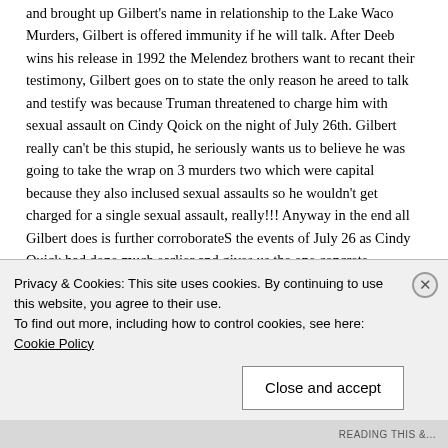and brought up Gilbert's name in relationship to the Lake Waco Murders, Gilbert is offered immunity if he will talk. After Deeb wins his release in 1992 the Melendez brothers want to recant their testimony, Gilbert goes on to state the only reason he areed to talk and testify was because Truman threatened to charge him with sexual assault on Cindy Qoick on the night of July 26th. Gilbert really can't be this stupid, he seriously wants us to believe he was going to take the wrap on 3 murders two which were capital because they also inclused sexual assaults so he wouldn't get charged for a single sexual assault, really!!! Anyway in the end all Gilbert does is further corroborateS the events of July 26 as Cindy Quick had done much earlier and gives us the one concrete indisputable piece of evidence that shows David
Privacy & Cookies: This site uses cookies. By continuing to use this website, you agree to their use.
To find out more, including how to control cookies, see here: Cookie Policy
Close and accept
READING THIS &...